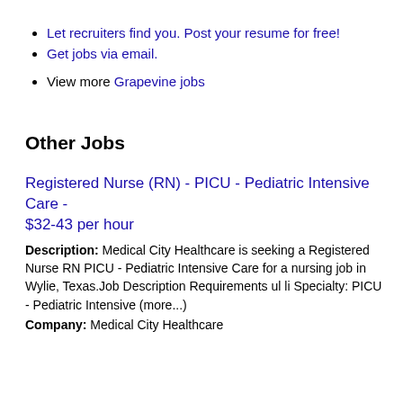Let recruiters find you. Post your resume for free!
Get jobs via email.
View more Grapevine jobs
Other Jobs
Registered Nurse (RN) - PICU - Pediatric Intensive Care - $32-43 per hour
Description: Medical City Healthcare is seeking a Registered Nurse RN PICU - Pediatric Intensive Care for a nursing job in Wylie, Texas.Job Description Requirements ul li Specialty: PICU - Pediatric Intensive (more...)
Company: Medical City Healthcare